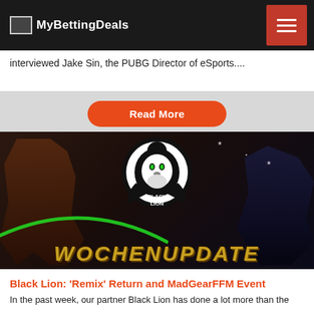MyBettingDeals
interviewed Jake Sin, the PUBG Director of eSports....
Read More
[Figure (photo): Black Lion esports team banner with fighters and 'WOCHENUPDATE' text overlay, featuring a lion logo]
Black Lion: 'Remix' Return and MadGearFFM Event
In the past week, our partner Black Lion has done a lot more than the